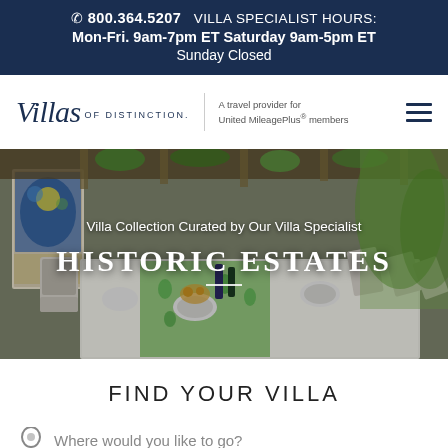📞 800.364.5207  VILLA SPECIALIST HOURS: Mon-Fri. 9am-7pm ET Saturday 9am-5pm ET Sunday Closed
[Figure (logo): Villas of Distinction logo with tagline 'A travel provider for United MileagePlus® members' and hamburger menu icon]
[Figure (photo): Outdoor dining terrace of a historic estate villa, with long table set with green glassware, decorative tiled wall, stone architecture and garden foliage. Text overlay: 'Villa Collection Curated by Our Villa Specialist' and 'HISTORIC ESTATES']
FIND YOUR VILLA
Where would you like to go?